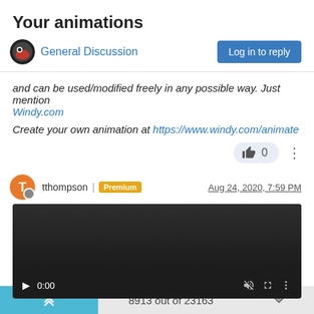Your animations
General Discussion
and can be used/modified freely in any possible way. Just mention Windy.com
Create your own animation at https://www.windy.com/animate
tthompson | Premium   Aug 24, 2020, 7:59 PM
[Figure (screenshot): Embedded video player with dark background, showing 0:00 timestamp and playback controls]
8913 out of 23163